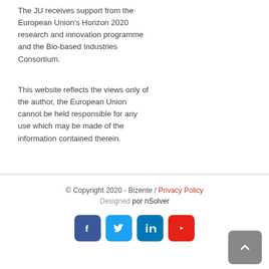The JU receives support from the European Union's Horizon 2020 research and innovation programme and the Bio-based Industries Consortium.
This website reflects the views only of the author, the European Union cannot be held responsible for any use which may be made of the information contained therein.
© Copyright 2020 - Bizente / Privacy Policy
Designed por nSolver